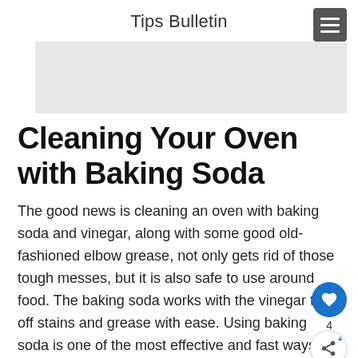Tips Bulletin
[Figure (photo): Gray placeholder image banner]
Cleaning Your Oven with Baking Soda
The good news is cleaning an oven with baking soda and vinegar, along with some good old-fashioned elbow grease, not only gets rid of those tough messes, but it is also safe to use around food. The baking soda works with the vinegar to lift off stains and grease with ease. Using baking soda is one of the most effective and fast ways to clean your oven if you want the job done right.